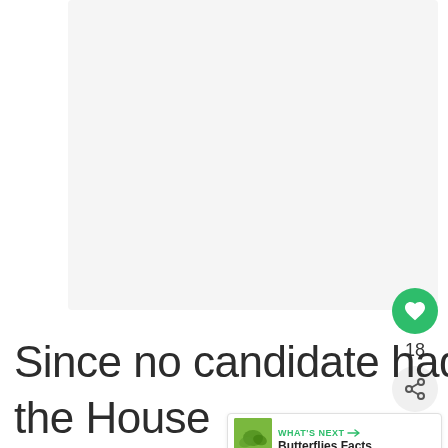[Figure (photo): Large light gray rectangular image placeholder area]
Since no candidate had a majority vote, the House
[Figure (illustration): What's Next promo box with Butterflies Facts book cover]